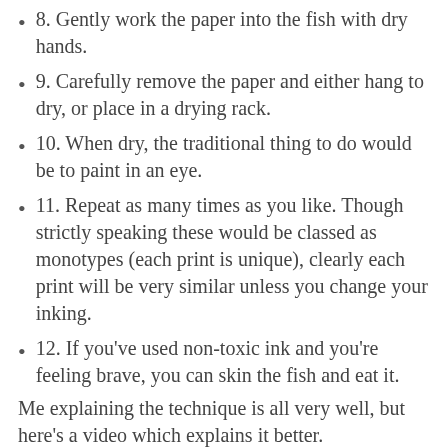8. Gently work the paper into the fish with dry hands.
9. Carefully remove the paper and either hang to dry, or place in a drying rack.
10. When dry, the traditional thing to do would be to paint in an eye.
11. Repeat as many times as you like. Though strictly speaking these would be classed as monotypes (each print is unique), clearly each print will be very similar unless you change your inking.
12. If you've used non-toxic ink and you're feeling brave, you can skin the fish and eat it.
Me explaining the technique is all very well, but here's a video which explains it better.
[Figure (screenshot): Video thumbnail showing a YouTube-style video player with TV color test bars icon on the left and the title 'Gyotaku by Naoki' in white text on a dark background.]